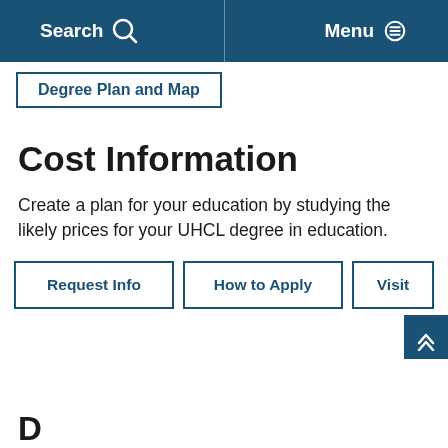Search   Menu
Degree Plan and Map
Cost Information
Create a plan for your education by studying the likely prices for your UHCL degree in education.
Request Info   How to Apply   Visit
D...